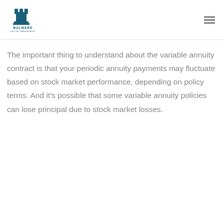[Figure (logo): Bulwark Capital Management logo — chess rook icon above the text BULWARK CAPITAL MANAGEMENT in dark teal]
The important thing to understand about the variable annuity contract is that your periodic annuity payments may fluctuate based on stock market performance, depending on policy terms. And it's possible that some variable annuity policies can lose principal due to stock market losses.